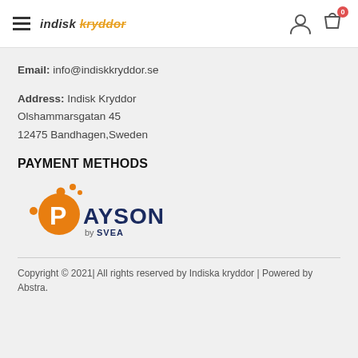indisk kryddor
Email: info@indiskkryddor.se
Address: Indisk Kryddor
Olshammarsgatan 45
12475 Bandhagen,Sweden
PAYMENT METHODS
[Figure (logo): Payson by SVEA payment logo — orange circle with P, orange dots, dark blue PAYSON text, 'by SVEA' below]
Copyright © 2021| All rights reserved by Indiska kryddor | Powered by Abstra.